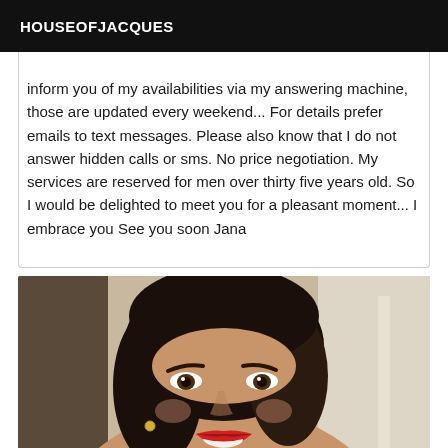HOUSEOFJACQUES
inform you of my availabilities via my answering machine, those are updated every weekend... For details prefer emails to text messages. Please also know that I do not answer hidden calls or sms. No price negotiation. My services are reserved for men over thirty five years old. So I would be delighted to meet you for a pleasant moment... I embrace you See you soon Jana
[Figure (photo): Selfie portrait of a smiling woman with dark hair, wearing red lipstick, styled hair, and a small earring, taken indoors with a light background.]